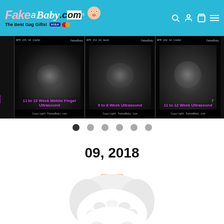FakeaBaby.com – The Best Gag Gifts!
[Figure (screenshot): Horizontal scrolling slideshow of fake ultrasound images with purple/pink text labels, showing multiple ultrasound panels side by side. Navigation dots below indicate current slide position.]
09, 2018
[Figure (photo): Photo of a person dressed as Santa Claus, showing white beard, red suit with white trim, viewed from the front/chest up, cropped at top of frame.]